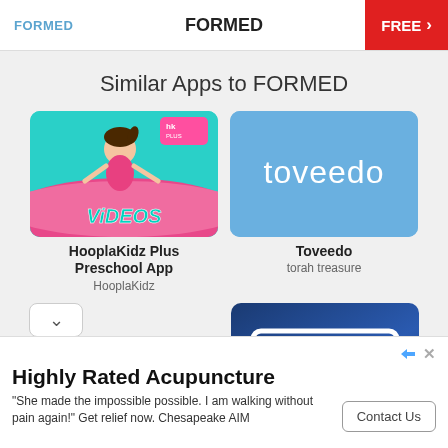FORMED   FORMED   FREE >
Similar Apps to FORMED
[Figure (illustration): HooplaKidz Plus Preschool App thumbnail – teal background with cartoon girl and 'VIDEOS' text]
HooplaKidz Plus Preschool App
HooplaKidz
[Figure (illustration): Toveedo app thumbnail – blue background with 'toveedo' white text]
Toveedo
torah treasure
[Figure (illustration): Second row left app thumbnail – white/grey background with teal circle icon]
[Figure (illustration): Second row right app thumbnail – dark blue gradient background with VSN white italic logo]
Highly Rated Acupuncture
"She made the impossible possible. I am walking without pain again!" Get relief now. Chesapeake AIM
Contact Us